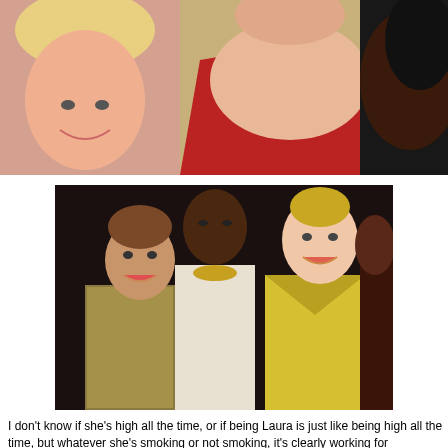[Figure (photo): Top cropped photo showing three women: a blonde woman smiling on the left, a woman in a red one-shoulder dress in the center, and a woman with dark hair partially visible on the right, against a yellow/beige wall background.]
[Figure (photo): Second photo showing four women at an event: a woman in a sparkly patterned top smiling, a bald woman in a white dress looking upward, a woman in a yellow V-neck gown smiling, and a partial fourth woman on the far right, against a dark background.]
I don't know if she's high all the time, or if being Laura is just like being high the time, but whatever she's smoking or not smoking, it's clearly working for